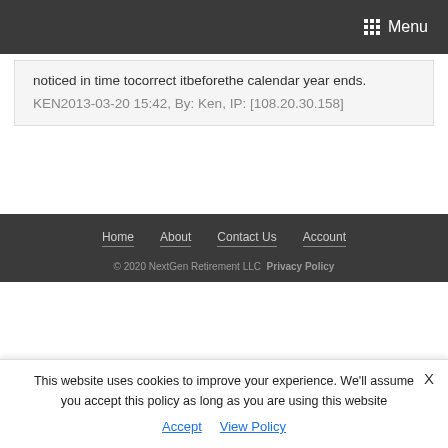Menu
noticed in time tocorrect itbeforethe calendar year ends.
KEN2013-03-20 15:42, By: Ken, IP: [108.20.30.158]
Home  About  Contact Us  Account
© 2020 NextGen Retirement LLC  Privacy Policy
This website uses cookies to improve your experience. We'll assume you accept this policy as long as you are using this website